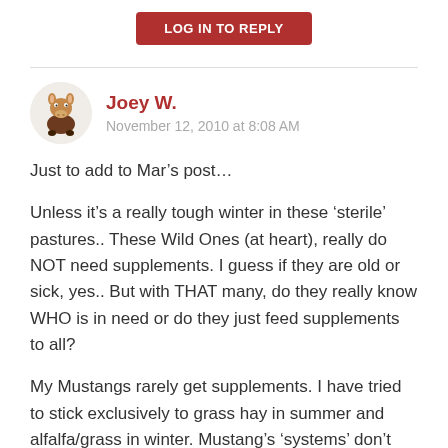LOG IN TO REPLY
[Figure (illustration): Cartoon horse/donkey avatar image]
Joey W.
November 12, 2010 at 8:08 AM
Just to add to Mar’s post…
Unless it’s a really tough winter in these ‘sterile’ pastures.. These Wild Ones (at heart), really do NOT need supplements. I guess if they are old or sick, yes.. But with THAT many, do they really know WHO is in need or do they just feed supplements to all?
My Mustangs rarely get supplements. I have tried to stick exclusively to grass hay in summer and alfalfa/grass in winter. Mustang’s ‘systems’ don’t really have the ‘need’ for supplementation like his domestic cousin. They ‘use’ what they get wisely. Of